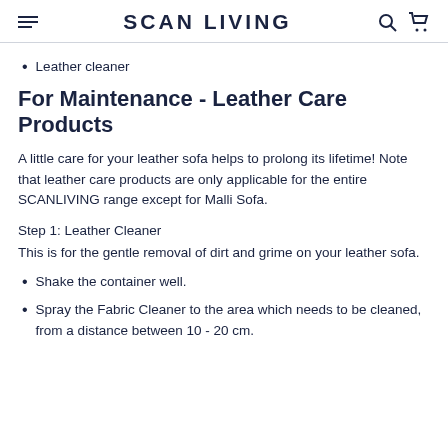SCAN LIVING
Leather cleaner
For Maintenance - Leather Care Products
A little care for your leather sofa helps to prolong its lifetime! Note that leather care products are only applicable for the entire SCANLIVING range except for Malli Sofa.
Step 1: Leather Cleaner
This is for the gentle removal of dirt and grime on your leather sofa.
Shake the container well.
Spray the Fabric Cleaner to the area which needs to be cleaned, from a distance between 10 - 20 cm.